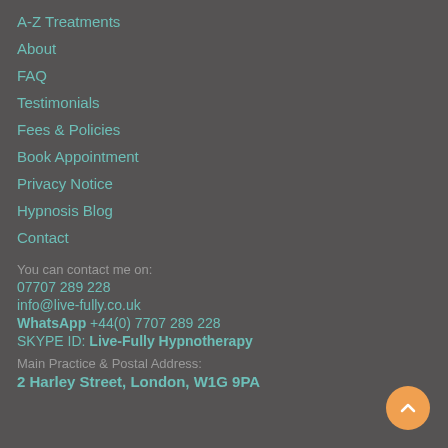A-Z Treatments
About
FAQ
Testimonials
Fees & Policies
Book Appointment
Privacy Notice
Hypnosis Blog
Contact
You can contact me on:
07707 289 228
info@live-fully.co.uk
WhatsApp +44(0) 7707 289 228
SKYPE ID: Live-Fully Hypnotherapy
Main Practice & Postal Address:
2 Harley Street, London, W1G 9PA